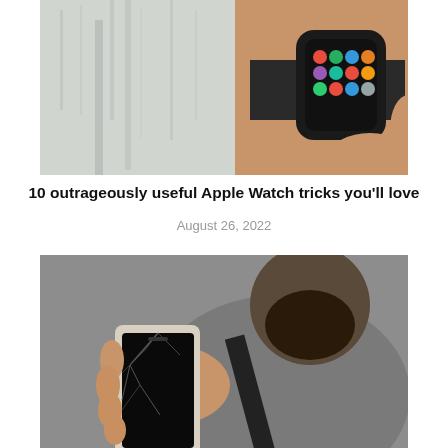[Figure (photo): Close-up photo of a person wearing an Apple Watch on their wrist, showing the watch face with colorful app icons on a dark screen. Person wearing a grey/white sweater.]
10 outrageously useful Apple Watch tricks you'll love
August 26, 2022
[Figure (photo): A bearded man in a grey t-shirt holding up a smartphone with a cracked/shattered screen toward the camera.]